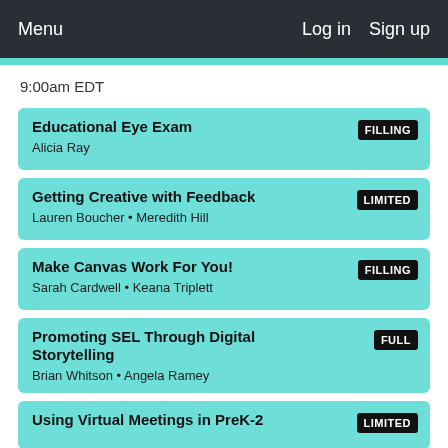Menu   Log in   Sign up
9:00am EDT
Educational Eye Exam — Alicia Ray — FILLING
Getting Creative with Feedback — Lauren Boucher • Meredith Hill — LIMITED
Make Canvas Work For You! — Sarah Cardwell • Keana Triplett — FILLING
Promoting SEL Through Digital Storytelling — Brian Whitson • Angela Ramey — FULL
Using Virtual Meetings in PreK-2 — LIMITED